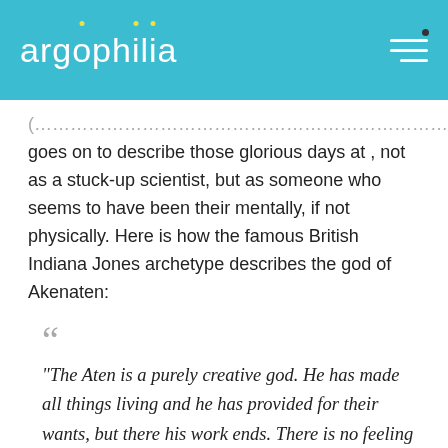argophilia
goes on to describe those glorious days at , not as a stuck-up scientist, but as someone who seems to have been their mentally, if not physically. Here is how the famous British Indiana Jones archetype describes the god of Akenaten:
“The Aten is a purely creative god. He has made all things living and he has provided for their wants, but there his work ends. There is no feeling that he will reward good or punish evil. There is no sense of sin or indeed of right and wrong . 1 And that is a clue to the Amarna age. It is absolutely unmoral. We can see it most plainly in their art. They have cast aside the standards